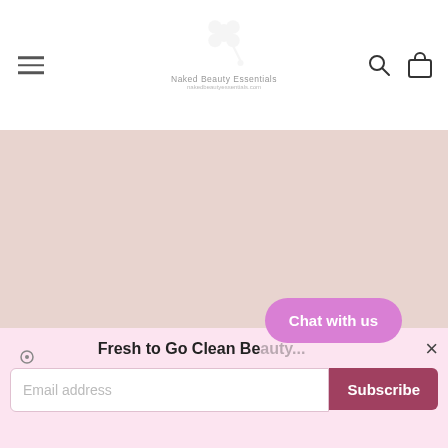[Figure (screenshot): Website header navigation bar with hamburger menu on left, Naked Beauty Essentials logo in center (faded/light), search icon and shopping bag icon on right]
[Figure (photo): Large pink/blush colored banner section, empty background]
Fresh to Go Clean Be...
Chat with us
Email address
Subscribe